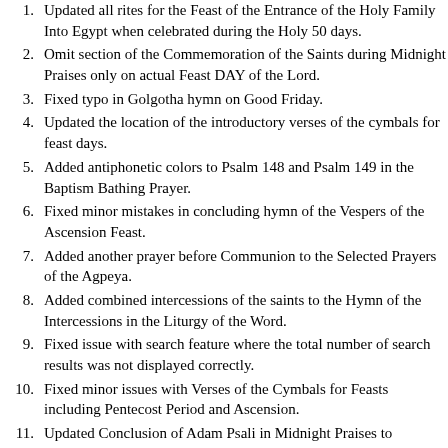Updated all rites for the Feast of the Entrance of the Holy Family Into Egypt when celebrated during the Holy 50 days.
Omit section of the Commemoration of the Saints during Midnight Praises only on actual Feast DAY of the Lord.
Fixed typo in Golgotha hymn on Good Friday.
Updated the location of the introductory verses of the cymbals for feast days.
Added antiphonetic colors to Psalm 148 and Psalm 149 in the Baptism Bathing Prayer.
Fixed minor mistakes in concluding hymn of the Vespers of the Ascension Feast.
Added another prayer before Communion to the Selected Prayers of the Agpeya.
Added combined intercessions of the saints to the Hymn of the Intercessions in the Liturgy of the Word.
Fixed issue with search feature where the total number of search results was not displayed correctly.
Fixed minor issues with Verses of the Cymbals for Feasts including Pentecost Period and Ascension.
Updated Conclusion of Adam Psali in Midnight Praises to correctly reflect the current season.
Added Role titles to Agpeya documents.
Added 'All You Heavenly Hosts' to Crowning and Engagement exit procession.
Moved 'Hymn of the Resurrection' in Midnight Praises to a more appropriate time.